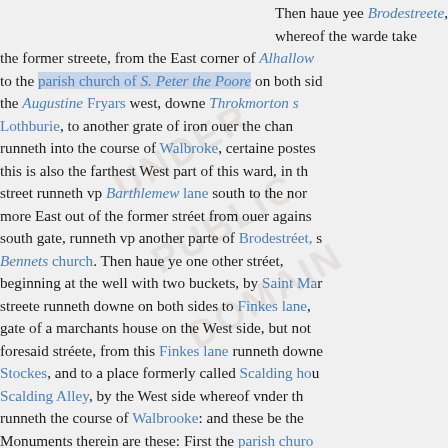Then haue yee Brodestreete, whereof the warde take the former streete, from the East corner of Alhallow to the parish church of S. Peter the Poore on both si the Augustine Fryars west, downe Throkmorton s Lothburie, to another grate of iron ouer the cha runneth into the course of Walbroke, certaine poste this is also the farthest West part of this ward, in t street runneth vp Barthlemew lane south to the no more East out of the former stréet from ouer again south gate, runneth vp another parte of Brodestréet, s Bennets church. Then haue ye one other stréet beginning at the well with two buckets, by Saint Ma streete runneth downe on both sides to Finkes lane, gate of a marchants house on the West side, but no foresaid stréete, from this Finkes lane runneth down Stockes, and to a place formerly called Scalding ho Scalding Alley, by the West side whereof vnder t runneth the course of Walbrooke: and these be the Monuments therein are these: First the parish churo